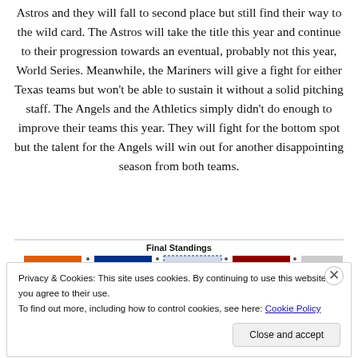Astros and they will fall to second place but still find their way to the wild card. The Astros will take the title this year and continue to their progression towards an eventual, probably not this year, World Series. Meanwhile, the Mariners will give a fight for either Texas teams but won't be able to sustain it without a solid pitching staff. The Angels and the Athletics simply didn't do enough to improve their teams this year. They will fight for the bottom spot but the talent for the Angels will win out for another disappointing season from both teams.
[Figure (other): Final Standings chart section with colored team legend bars (orange, dark blue, dotted blue, dark red, light gray) partially visible, overlaid by a cookie consent notice.]
Privacy & Cookies: This site uses cookies. By continuing to use this website, you agree to their use.
To find out more, including how to control cookies, see here: Cookie Policy
Close and accept